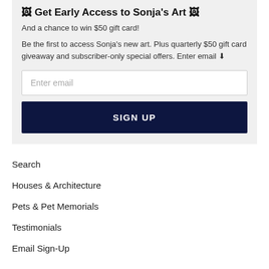🖼 Get Early Access to Sonja's Art 🖼
And a chance to win $50 gift card!
Be the first to access Sonja's new art. Plus quarterly $50 gift card giveaway and subscriber-only special offers. Enter email ⬇
Enter email
SIGN UP
Search
Houses & Architecture
Pets & Pet Memorials
Testimonials
Email Sign-Up